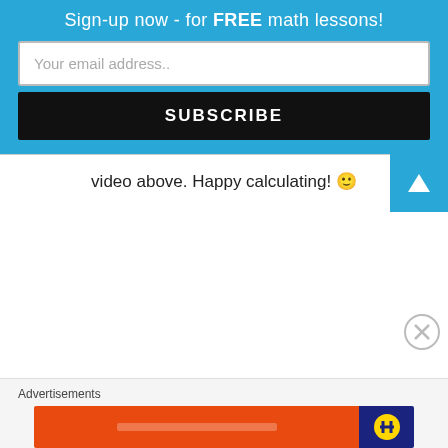Sign-up now - for FREE math lessons!
Your email address..
SUBSCRIBE
video above. Happy calculating! 🙂
Advertisements